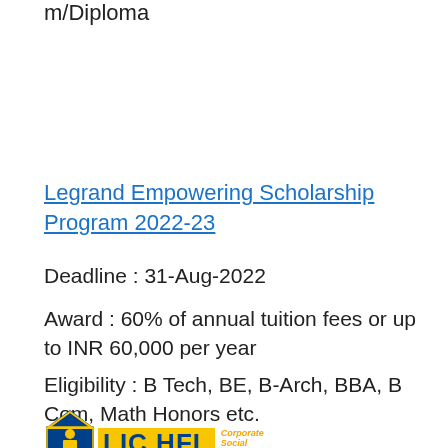m/Diploma
Legrand Empowering Scholarship Program 2022-23
Deadline : 31-Aug-2022
Award : 60% of annual tuition fees or up to INR 60,000 per year
Eligibility : B Tech, BE, B-Arch, BBA, B Com, Math Honors etc.
[Figure (logo): LIC HFL Corporate Social Responsibility logo with house icon]